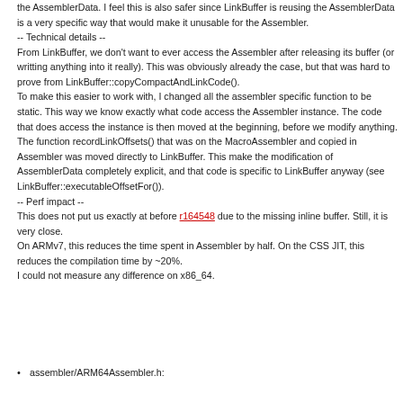the AssemblerData. I feel this is also safer since LinkBuffer is reusing the AssemblerData is a very specific way that would make it unusable for the Assembler.
-- Technical details --
From LinkBuffer, we don't want to ever access the Assembler after releasing its buffer (or writting anything into it really). This was obviously already the case, but that was hard to prove from LinkBuffer::copyCompactAndLinkCode().
To make this easier to work with, I changed all the assembler specific function to be static. This way we know exactly what code access the Assembler instance. The code that does access the instance is then moved at the beginning, before we modify anything.
The function recordLinkOffsets() that was on the MacroAssembler and copied in Assembler was moved directly to LinkBuffer. This make the modification of AssemblerData completely explicit, and that code is specific to LinkBuffer anyway (see LinkBuffer::executableOffsetFor()).
-- Perf impact --
This does not put us exactly at before r164548 due to the missing inline buffer. Still, it is very close.
On ARMv7, this reduces the time spent in Assembler by half. On the CSS JIT, this reduces the compilation time by ~20%.
I could not measure any difference on x86_64.
assembler/ARM64Assembler.h: